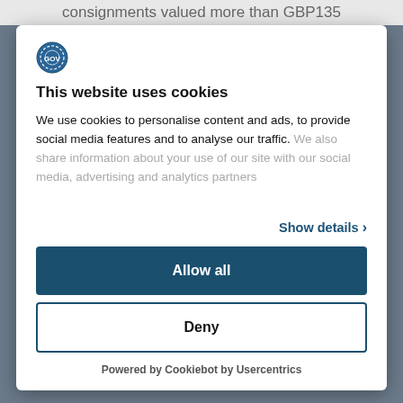consignments valued more than GBP135
[Figure (logo): Circular logo/seal icon in blue]
This website uses cookies
We use cookies to personalise content and ads, to provide social media features and to analyse our traffic. We also share information about your use of our site with our social media, advertising and analytics partners
Show details >
Allow all
Deny
Powered by Cookiebot by Usercentrics